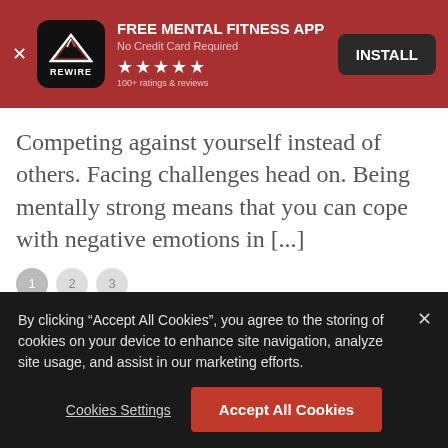[Figure (screenshot): App advertisement banner for REWIRE mental fitness app with red background, app icon, star rating, and INSTALL button]
Competing against yourself instead of others. Facing challenges head on. Being mentally strong means that you can cope with negative emotions in [...]
By clicking “Accept All Cookies”, you agree to the storing of cookies on your device to enhance site navigation, analyze site usage, and assist in our marketing efforts.
Cookies Settings
Accept All Cookies